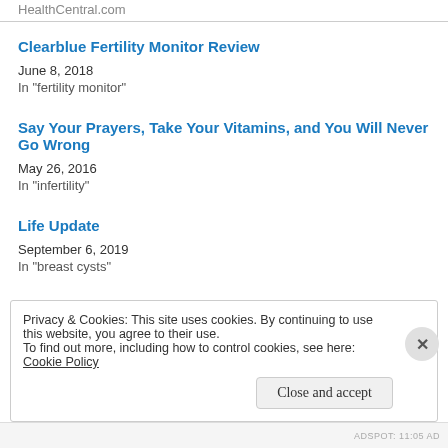HealthCentral.com
Clearblue Fertility Monitor Review
June 8, 2018
In "fertility monitor"
Say Your Prayers, Take Your Vitamins, and You Will Never Go Wrong
May 26, 2016
In "infertility"
Life Update
September 6, 2019
In "breast cysts"
Privacy & Cookies: This site uses cookies. By continuing to use this website, you agree to their use.
To find out more, including how to control cookies, see here: Cookie Policy
ADSPOT: 11:05 AD